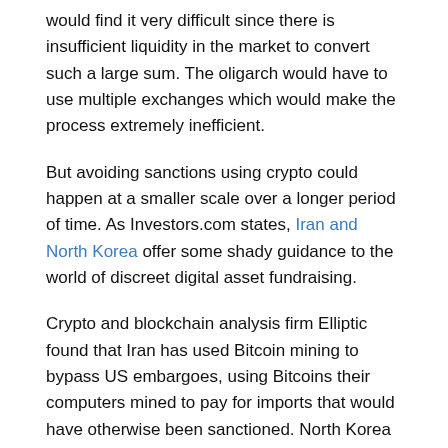would find it very difficult since there is insufficient liquidity in the market to convert such a large sum. The oligarch would have to use multiple exchanges which would make the process extremely inefficient.
But avoiding sanctions using crypto could happen at a smaller scale over a longer period of time. As Investors.com states, Iran and North Korea offer some shady guidance to the world of discreet digital asset fundraising.
Crypto and blockchain analysis firm Elliptic found that Iran has used Bitcoin mining to bypass US embargoes, using Bitcoins their computers mined to pay for imports that would have otherwise been sanctioned. North Korea meanwhile employed hackers to steal some USD400mil in assets from cryptocurrency platforms last year, according to the research firm Chainalysis.
Russia's embargoed but wealthy persons of interest could also channel divert money through smaller crypto exchanges that